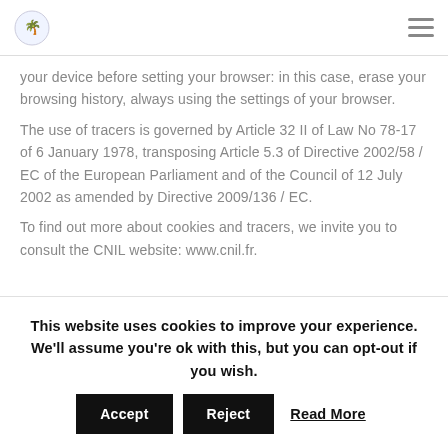Logo and hamburger menu navigation header
your device before setting your browser: in this case, erase your browsing history, always using the settings of your browser.
The use of tracers is governed by Article 32 II of Law No 78-17 of 6 January 1978, transposing Article 5.3 of Directive 2002/58 / EC of the European Parliament and of the Council of 12 July 2002 as amended by Directive 2009/136 / EC.
To find out more about cookies and tracers, we invite you to consult the CNIL website: www.cnil.fr.
Cookies relat...
This website uses cookies to improve your experience. We'll assume you're ok with this, but you can opt-out if you wish.